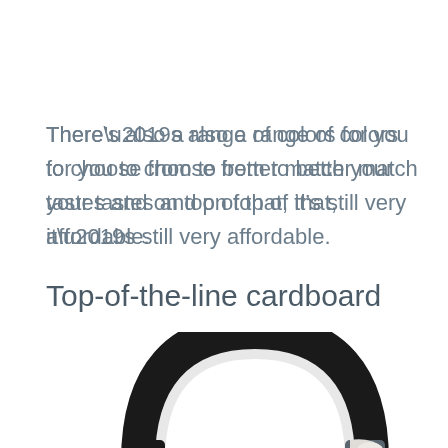There’s also a range of colors for you to choose from to better match your tastes and on top of that, it’s still very affordable.
Top-of-the-line cardboard
[Figure (photo): Partial view of a black over-ear headphone headband arc, shown from above, with white padding visible underneath.]